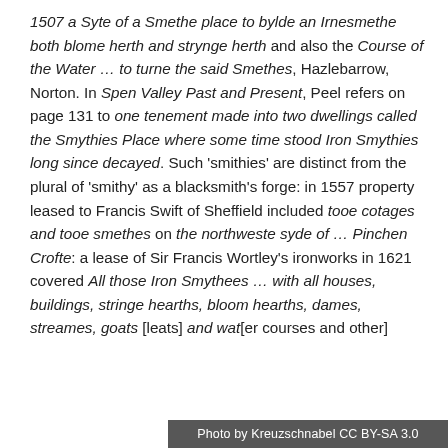1507 a Syte of a Smethe place to bylde an Irnesmethe both blome herth and strynge herth and also the Course of the Water … to turne the said Smethes, Hazlebarrow, Norton. In Spen Valley Past and Present, Peel refers on page 131 to one tenement made into two dwellings called the Smythies Place where some time stood Iron Smythies long since decayed. Such 'smithies' are distinct from the plural of 'smithy' as a blacksmith's forge: in 1557 property leased to Francis Swift of Sheffield included tooe cotages and tooe smethes on the northweste syde of … Pinchen Crofte: a lease of Sir Francis Wortley's ironworks in 1621 covered All those Iron Smythees … with all houses, buildings, stringe hearths, bloom hearths, dames, streames, goats [leats] and wat[er courses and other]
Photo by Kreuzschnabel CC BY-SA 3.0